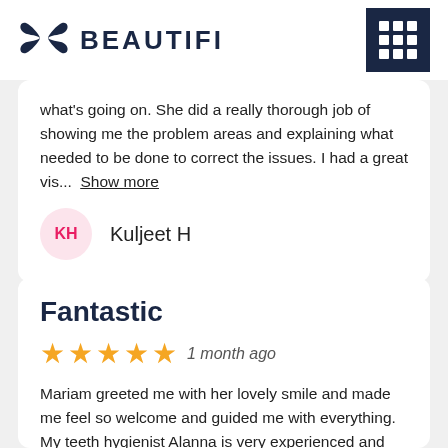BEAUTIFI
what's going on. She did a really thorough job of showing me the problem areas and explaining what needed to be done to correct the issues. I had a great vis... Show more
KH  Kuljeet H
Fantastic
1 month ago
Mariam greeted me with her lovely smile and made me feel so welcome and guided me with everything. My teeth hygienist Alanna is very experienced and did a great job...had absolutely no kind of